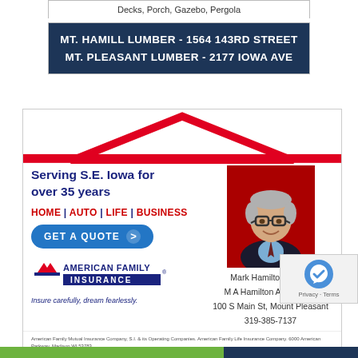Decks, Porch, Gazebo, Pergola
MT. HAMILL LUMBER - 1564 143RD STREET
MT. PLEASANT LUMBER - 2177 IOWA AVE
[Figure (illustration): American Family Insurance advertisement featuring a roofline graphic, 'Serving S.E. Iowa for over 35 years', HOME | AUTO | LIFE | BUSINESS, GET A QUOTE button, American Family Insurance logo, and agent photo of Mark Hamilton]
Serving S.E. Iowa for over 35 years
HOME | AUTO | LIFE | BUSINESS
GET A QUOTE >
AMERICAN FAMILY INSURANCE
Insure carefully, dream fearlessly.
Mark Hamilton, Agent
M A Hamilton Agency Inc
100 S Main St, Mount Pleasant
319-385-7137
American Family Mutual Insurance Company, S.I. & its Operating Companies. American Family Life Insurance Company. 6000 American Parkway, Madison WI 53783